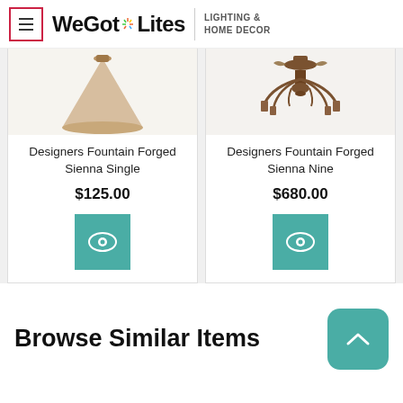[Figure (logo): WeGotLites Lighting & Home Decor logo with hamburger menu button]
[Figure (photo): Designers Fountain Forged Sienna Single pendant light shade, beige/wood colored]
Designers Fountain Forged Sienna Single
$125.00
[Figure (illustration): Teal quick view eye icon button]
[Figure (photo): Designers Fountain Forged Sienna Nine decorative chandelier, dark bronze/iron]
Designers Fountain Forged Sienna Nine
$680.00
[Figure (illustration): Teal quick view eye icon button]
Browse Similar Items